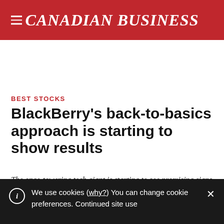CANADIAN BUSINESS
BEST STOCKS
BlackBerry's back-to-basics approach is starting to show results
The once-towering tech giant is starting to see promising signs now that it's returned to its enterprise
We use cookies (why?) You can change cookie preferences. Continued site use